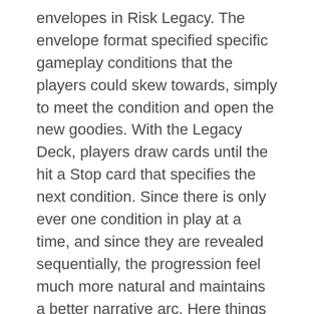envelopes in Risk Legacy. The envelope format specified specific gameplay conditions that the players could skew towards, simply to meet the condition and open the new goodies. With the Legacy Deck, players draw cards until the hit a Stop card that specifies the next condition. Since there is only ever one condition in play at a time, and since they are revealed sequentially, the progression feel much more natural and maintains a better narrative arc. Here things are more personal than Risk Legacy, as players name characters and invest in them with player abilities and relationships. And there are conditions where a character can die, which would prove to be devastating with a character that had a lot of gameplay investment and was key to players' strategy.  Much like a TV show, the game is just Season 1 of what is sure to be many more, and over the course of the 12-24 games a story unfolds that is unique based on the decisions the players have